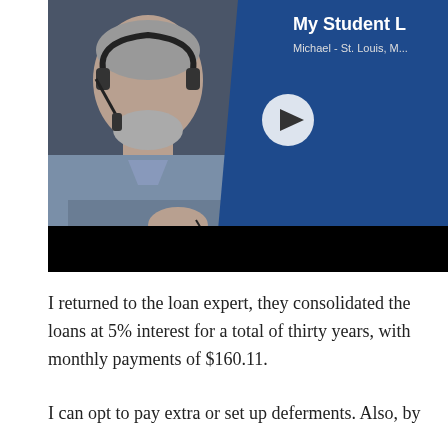[Figure (screenshot): Video thumbnail showing an older man with gray beard wearing a blue shirt and headset, sitting at a desk. The video has a dark background on the left and a blue branded panel on the right with text 'My Student L...' and 'Michael - St. Louis, M...' and a play button in the center. A yellow rectangle is visible on the right edge.]
I returned to the loan expert, they consolidated the loans at 5% interest for a total of thirty years, with monthly payments of $160.11.
I can opt to pay extra or set up deferments. Also, by